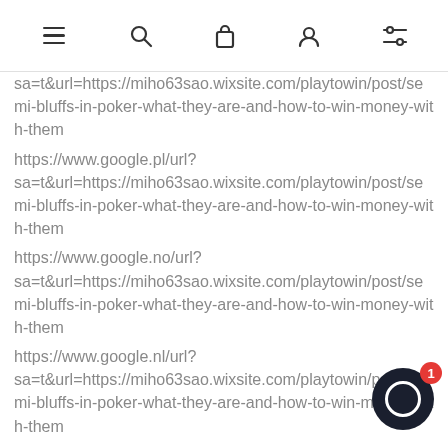[navigation icons: hamburger menu, search, bag, account, filters]
sa=t&url=https://miho63sao.wixsite.com/playtowin/post/semi-bluffs-in-poker-what-they-are-and-how-to-win-money-with-them
https://www.google.pl/url?
sa=t&url=https://miho63sao.wixsite.com/playtowin/post/semi-bluffs-in-poker-what-they-are-and-how-to-win-money-with-them
https://www.google.no/url?
sa=t&url=https://miho63sao.wixsite.com/playtowin/post/semi-bluffs-in-poker-what-they-are-and-how-to-win-money-with-them
https://www.google.nl/url?
sa=t&url=https://miho63sao.wixsite.com/playtowin/post/semi-bluffs-in-poker-what-they-are-and-how-to-win-money-with-them
https://www.google.mw/url?
sa=t&url=https://miho63sao.wixsite.com/playtowin/post/semi-bluffs-in-poker-what-they-are-and-how-to-win-money-with-them